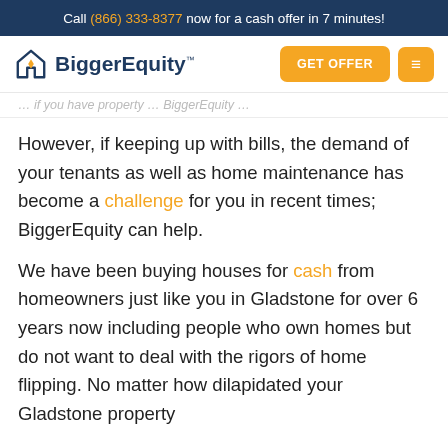Call (866) 333-8377 now for a cash offer in 7 minutes!
[Figure (logo): BiggerEquity logo with house icon and stylized diamond shape]
However, if keeping up with bills, the demand of your tenants as well as home maintenance has become a challenge for you in recent times; BiggerEquity can help.
We have been buying houses for cash from homeowners just like you in Gladstone for over 6 years now including people who own homes but do not want to deal with the rigors of home flipping. No matter how dilapidated your Gladstone property